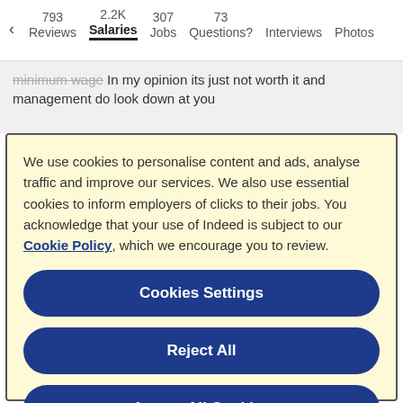793 Reviews  2.2K Salaries  307 Jobs  73 Questions?  Interviews  Photos
minimum wage In my opinion its just not worth it and management do look down at you
We use cookies to personalise content and ads, analyse traffic and improve our services. We also use essential cookies to inform employers of clicks to their jobs. You acknowledge that your use of Indeed is subject to our Cookie Policy, which we encourage you to review.
Cookies Settings
Reject All
Accept All Cookies